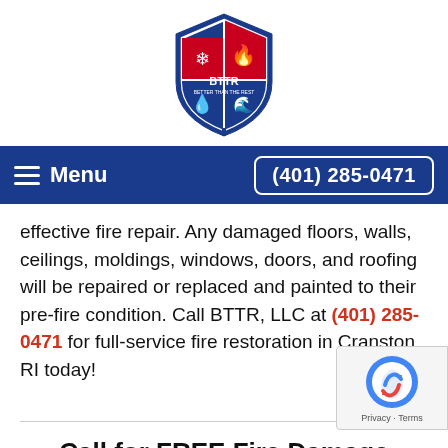[Figure (logo): BTTR (Better Than The Rest) shield logo with red, white, and blue colors featuring fire, water, and ice symbols]
Menu   (401) 285-0471
effective fire repair. Any damaged floors, walls, ceilings, moldings, windows, doors, and roofing will be repaired or replaced and painted to their pre-fire condition. Call BTTR, LLC at (401) 285-0471 for full-service fire restoration in Cranston, RI today!
Call for FREE Fire Damage Restoration Quote